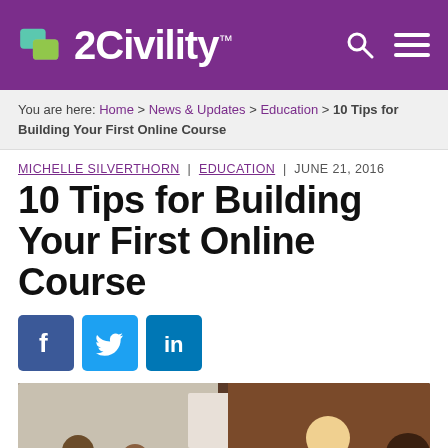2Civility
You are here: Home > News & Updates > Education > 10 Tips for Building Your First Online Course
MICHELLE SILVERTHORN | EDUCATION | JUNE 21, 2016
10 Tips for Building Your First Online Course
[Figure (infographic): Social share buttons: Facebook, Twitter, LinkedIn]
[Figure (photo): Group of diverse people in a meeting/workshop setting around a table with a whiteboard visible in the background]